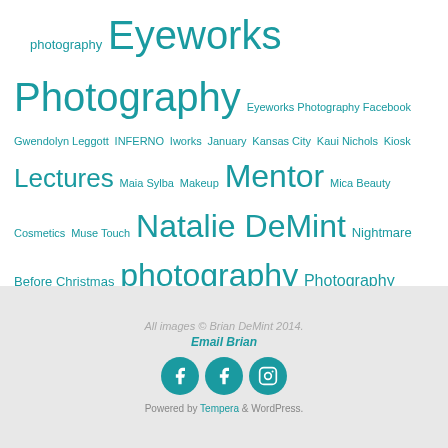photography Eyeworks Photography Eyeworks Photography Facebook Gwendolyn Leggott INFERNO Iworks January Kansas City Kaui Nichols Kiosk Lectures Maia Sylba Makeup Mentor Mica Beauty Cosmetics Muse Touch Natalie DeMint Nightmare Before Christmas photography Photography School House PPAGKC Sammi Sandy Puc Workshop Sarah Shutterfest Sierra Shriver-Roberts Springfield MO Toronto Unleash your creative mind Webinar Winter Convention Workshop
All images © Brian DeMint 2014. Email Brian Powered by Tempera & WordPress.